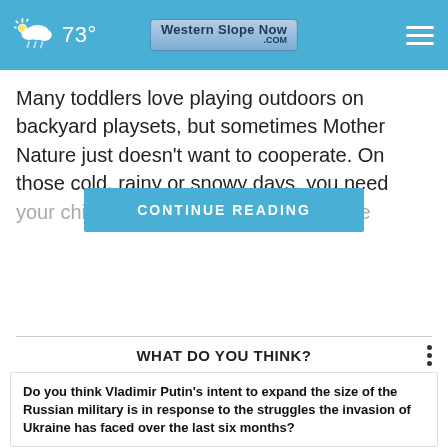73° Western Slope Now .com
Many toddlers love playing outdoors on backyard playsets, but sometimes Mother Nature just doesn't want to cooperate. On those cold, rainy or snowy days, you need [CONTINUE READING] your children occupied. Rath... front of the
WHAT DO YOU THINK?
Do you think Vladimir Putin's intent to expand the size of the Russian military is in response to the struggles the invasion of Ukraine has faced over the last six months?
Yes, I think so
Maybe, I'm not sure